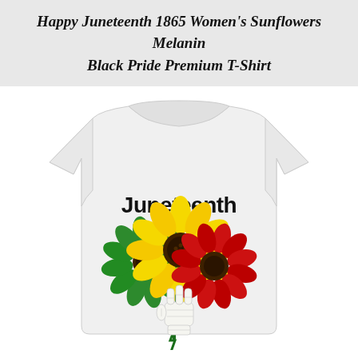Happy Juneteenth 1865 Women's Sunflowers Melanin Black Pride Premium T-Shirt
[Figure (photo): A white women's t-shirt featuring the word 'Juneteenth' in bold black text above a graphic of a skeleton hand holding a bouquet of three sunflowers with green, yellow, and red petals representing Pan-African colors.]